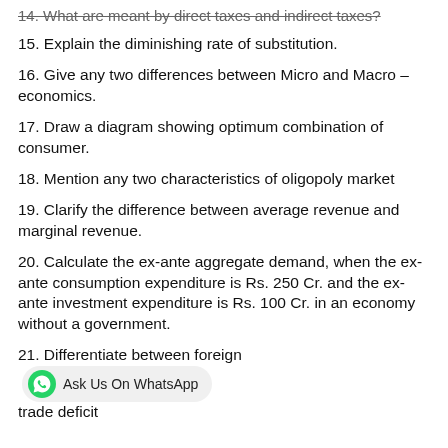14. What are meant by direct taxes and indirect taxes?
15. Explain the diminishing rate of substitution.
16. Give any two differences between Micro and Macro – economics.
17. Draw a diagram showing optimum combination of consumer.
18. Mention any two characteristics of oligopoly market
19. Clarify the difference between average revenue and marginal revenue.
20. Calculate the ex-ante aggregate demand, when the ex-ante consumption expenditure is Rs. 250 Cr. and the ex-ante investment expenditure is Rs. 100 Cr. in an economy without a government.
21. Differentiate between foreign trade deficit